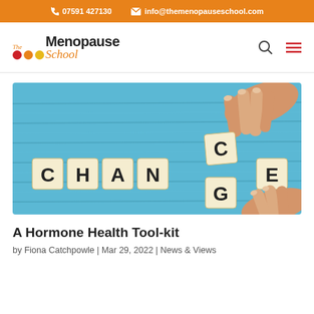07591 427130  info@themenopauseschool.com
[Figure (logo): The Menopause School logo with colored circles and stylized text]
[Figure (photo): Photo of letter tiles spelling CHANGE on a blue wooden surface with hands arranging them]
A Hormone Health Tool-kit
by Fiona Catchpowle | Mar 29, 2022 | News & Views